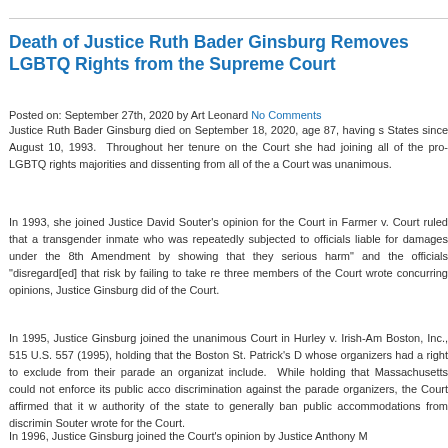Death of Justice Ruth Bader Ginsburg Removes LGBTQ Rights from the Supreme Court
Posted on: September 27th, 2020 by Art Leonard No Comments
Justice Ruth Bader Ginsburg died on September 18, 2020, age 87, having s States since August 10, 1993.  Throughout her tenure on the Court she had joining all of the pro-LGBTQ rights majorities and dissenting from all of the a Court was unanimous.
In 1993, she joined Justice David Souter's opinion for the Court in Farmer v. Court ruled that a transgender inmate who was repeatedly subjected to officials liable for damages under the 8th Amendment by showing that they serious harm" and the officials "disregard[ed] that risk by failing to take re three members of the Court wrote concurring opinions, Justice Ginsburg did of the Court.
In 1995, Justice Ginsburg joined the unanimous Court in Hurley v. Irish-Am Boston, Inc., 515 U.S. 557 (1995), holding that the Boston St. Patrick's D whose organizers had a right to exclude from their parade an organizat include.  While holding that Massachusetts could not enforce its public acco discrimination against the parade organizers, the Court affirmed that it w authority of the state to generally ban public accommodations from discrimin Souter wrote for the Court.
In 1996, Justice Ginsburg joined the Court's opinion by Justice Anthony M